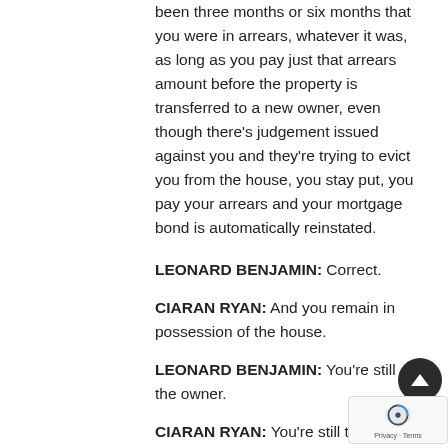been three months or six months that you were in arrears, whatever it was, as long as you pay just that arrears amount before the property is transferred to a new owner, even though there's judgement issued against you and they're trying to evict you from the house, you stay put, you pay your arrears and your mortgage bond is automatically reinstated.
LEONARD BENJAMIN: Correct.
CIARAN RYAN: And you remain in possession of the house.
LEONARD BENJAMIN: You're still the owner.
CIARAN RYAN: You're still the owner